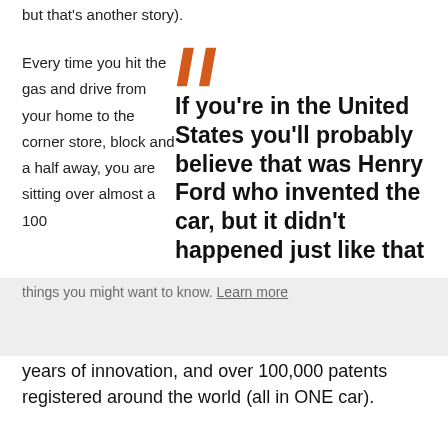but that's another story).
Every time you hit the gas and drive from your home to the corner store, block and a half away, you are sitting over almost a 100 years of innovation, and over 100,000 patents registered around the world (all in ONE car).
If you're in the United States you'll probably believe that was Henry Ford who invented the car, but it didn't happened just like that